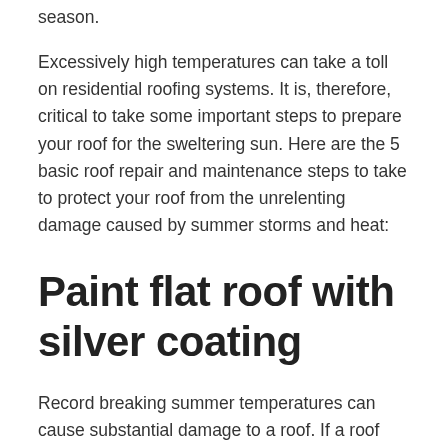season.
Excessively high temperatures can take a toll on residential roofing systems. It is, therefore, critical to take some important steps to prepare your roof for the sweltering sun. Here are the 5 basic roof repair and maintenance steps to take to protect your roof from the unrelenting damage caused by summer storms and heat:
Paint flat roof with silver coating
Record breaking summer temperatures can cause substantial damage to a roof. If a roof becomes too warm, the flat rubber roof could crack or break. Ultimately, the overall structure of a property